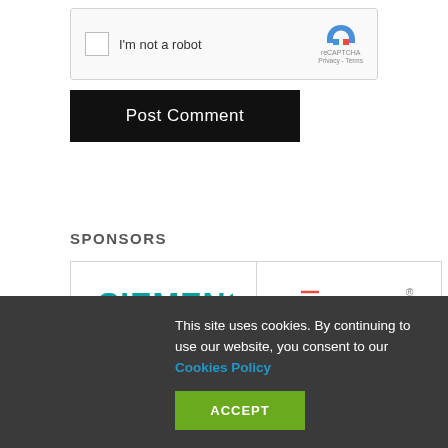[Figure (screenshot): reCAPTCHA widget with checkbox labeled 'I'm not a robot' and reCAPTCHA logo with Privacy - Terms links]
[Figure (screenshot): Black 'Post Comment' button]
SPONSORS
[Figure (logo): Siemens logo in teal/cyan color]
[Figure (logo): Cadence logo with red accent bar over 'a']
This site uses cookies. By continuing to use our website, you consent to our Cookies Policy
[Figure (screenshot): Green ACCEPT button for cookie consent]